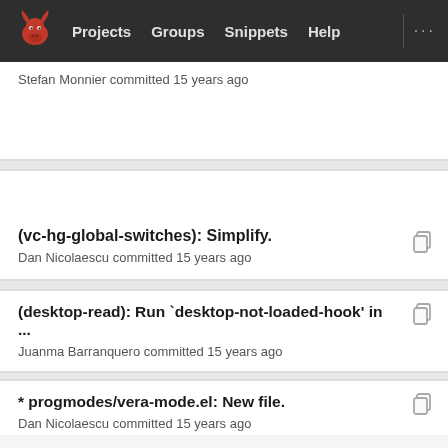Projects  Groups  Snippets  Help
Stefan Monnier committed 15 years ago
(vc-hg-global-switches): Simplify.
Dan Nicolaescu committed 15 years ago
(desktop-read): Run `desktop-not-loaded-hook' in ...
Juanma Barranquero committed 15 years ago
* progmodes/vera-mode.el: New file.
Dan Nicolaescu committed 15 years ago